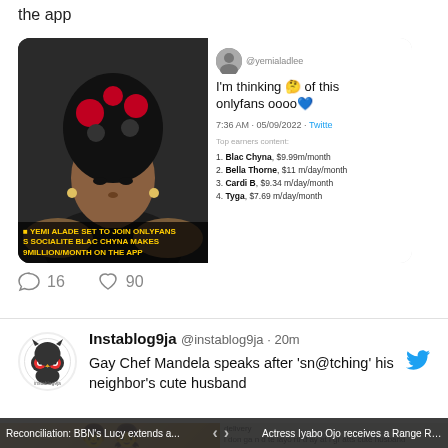the app
[Figure (screenshot): Composite screenshot showing a photo of Yemi Alade on the left with yellow text overlay reading 'YEMI ALADE SET TO JOIN ONLYFANS AS SOCIALITE BLAC CHYNA MAKES $9MILLION/MONTH ON THE APP', and on the right a tweet from @yemialadlee saying "I'm thinking 🤔 of this onlyfans oooo" with a list of top OnlyFans earners: 1. Blac Chyna $9.99m/month, 2. Bella Thorne $11m/day/month, 3. Cardi B $9.34m/month, 4. Tyga $7.69m/month]
16   90
Instablog9ja @instablog9ja · 20m
Gay Chef Mandela speaks after 'sn@tching' his neighbor's cute husband
[Figure (screenshot): Partial screenshot showing two person emojis (man and woman) and a text overlay with a social media post about Gay Chef Mandela]
Reconciliation: BBN's Lucy extends a...   <   >   Actress Iyabo Ojo receives a Range Ro...